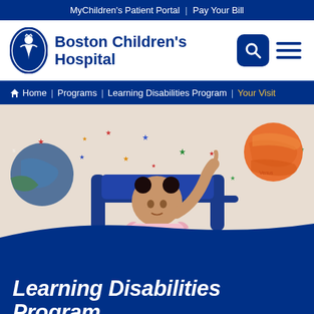MyChildren's Patient Portal | Pay Your Bill
[Figure (logo): Boston Children's Hospital logo with oval emblem of mother and child, dark blue text]
Home | Programs | Learning Disabilities Program | Your Visit
[Figure (photo): Young toddler girl with hair buns sitting in a blue chair, pointing upward with one finger, against a wall decorated with colorful stars and planet illustrations]
Learning Disabilities Program